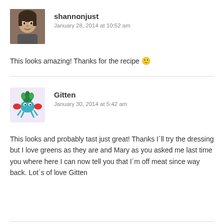[Figure (photo): Avatar photo of user shannonjust, a person's face]
shannonjust
January 28, 2014 at 10:52 am
This looks amazing! Thanks for the recipe 🙂
[Figure (illustration): Avatar illustration for user Gitten, a cartoon crab-like creature with green and red colors]
Gitten
January 30, 2014 at 5:42 am
This looks and probably tast just great! Thanks I´ll try the dressing but I love greens as they are and Mary as you asked me last time you where here I can now tell you that I´m off meat since way back. Lot´s of love Gitten